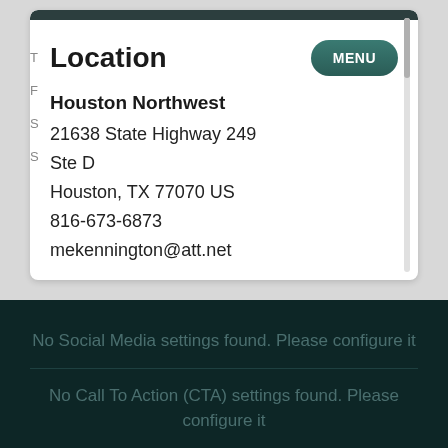Location
Houston Northwest
21638 State Highway 249
Ste D
Houston, TX 77070 US
816-673-6873
mekennington@att.net
No Social Media settings found. Please configure it
No Call To Action (CTA) settings found. Please configure it